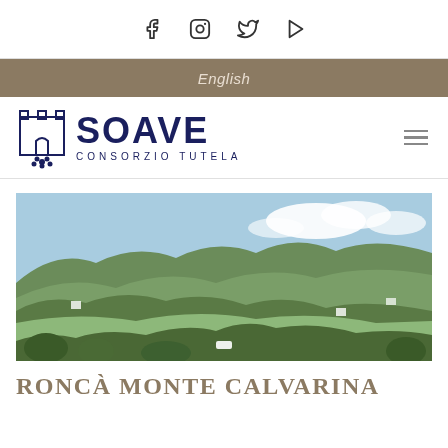Social media icons: Facebook, Instagram, Twitter, YouTube
English
[Figure (logo): Soave Consorzio Tutela logo with castle and grape cluster icon, dark navy text]
[Figure (photo): Panoramic landscape photograph of rolling hills and vineyards in the Roncà Monte Calvarina area]
RONCÀ MONTE CALVARINA